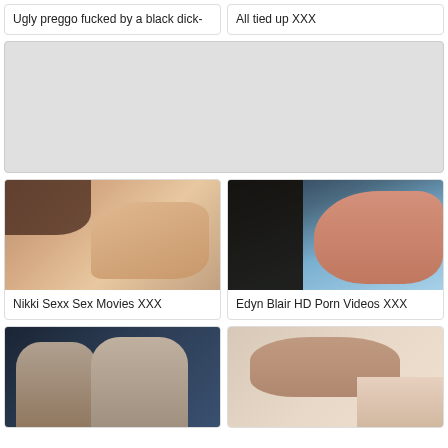Ugly preggo fucked by a black dick-
All tied up XXX
[Figure (photo): Large placeholder advertisement banner]
[Figure (photo): Nikki Sexx adult content thumbnail]
Nikki Sexx Sex Movies XXX
[Figure (photo): Edyn Blair adult content thumbnail]
Edyn Blair HD Porn Videos XXX
[Figure (photo): Adult content thumbnail bottom left]
[Figure (photo): Adult content thumbnail bottom right]